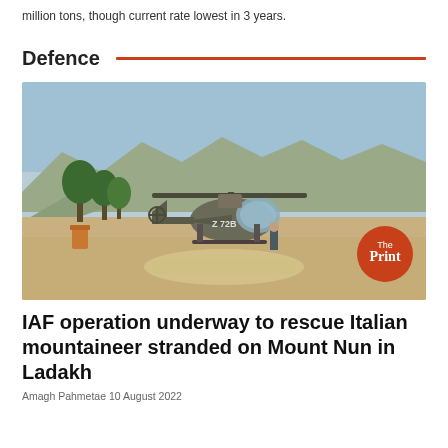million tons, though current rate lowest in 3 years.
Defence
[Figure (photo): An Indian Air Force helicopter (Cheetah/Lama type) on a landing pad in a mountainous, arid landscape with trees and hills in the background. The Print logo badge is visible in the bottom right corner of the image.]
IAF operation underway to rescue Italian mountaineer stranded on Mount Nun in Ladakh
Amagh Pahmetae 10 August 2022